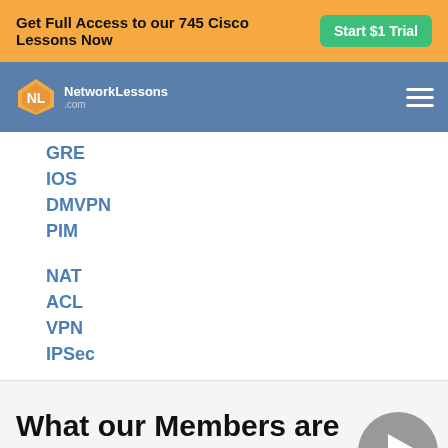Get Full Access to our 745 Cisco Lessons Now  Start $1 Trial
[Figure (logo): NetworkLessons.com logo with diamond icon and hamburger menu on blue nav bar]
GRE
IOS
DMVPN
PIM
NAT
ACL
VPN
IPSec
What our Members are Saying